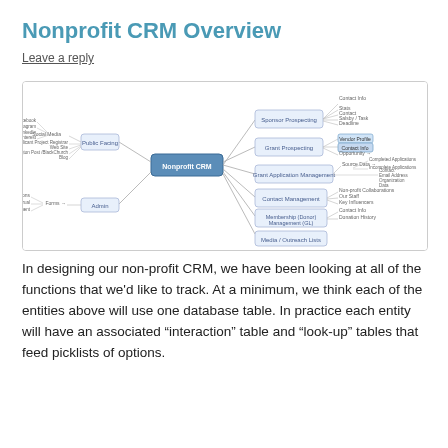Nonprofit CRM Overview
Leave a reply
[Figure (flowchart): Mind map diagram titled 'Nonprofit CRM' showing branches: Public Facing (with Social Media sub-branch listing Facebook, Instagram, LinkedIn, Pinterest, Applicant Project Registrar, Web Site, Huffington Post/BlackChurch/Blog), Sponsor Prospecting (Contact Info: Stats, Contact, Salsby/Task, Deadline), Grant Prospecting (Vendor Profile, Contact Info, Opportunity), Grant Application Management (Source Data: Completed Applications, Incomplete Applications; Contact, Email Address, Organization, Data), Contact Management (Non-profit Collaborations, Our Staff, Key Influencers), Membership (Donor) Management (GL) (Contact Info, Donation History), Media / Outreach Lists. Also Admin branch with Forms (Donations: Vacation Accrual, Expense Reimbursement).]
In designing our non-profit CRM, we have been looking at all of the functions that we'd like to track.  At a minimum, we think each of the entities above will use one database table.  In practice each entity will have an associated “interaction” table and “look-up” tables that feed picklists of options.